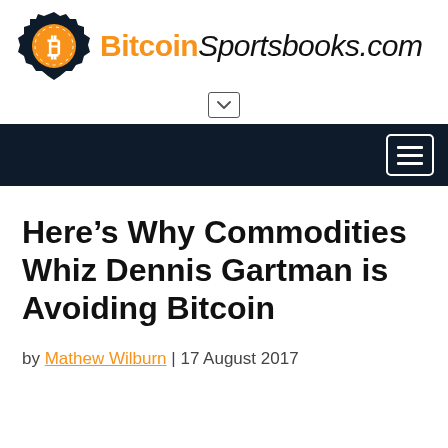[Figure (logo): BitcoinSportsbooks.com logo with Bitcoin gear icon and site name]
Here’s Why Commodities Whiz Dennis Gartman is Avoiding Bitcoin
by Mathew Wilburn | 17 August 2017